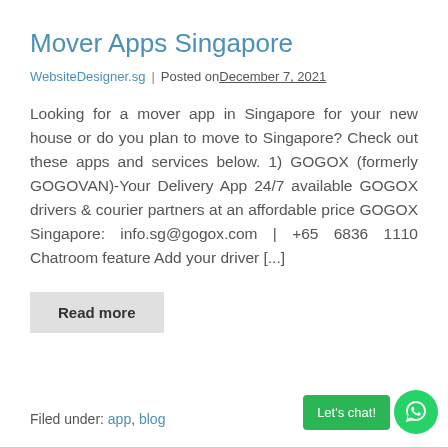Mover Apps Singapore
WebsiteDesigner.sg | Posted on December 7, 2021
Looking for a mover app in Singapore for your new house or do you plan to move to Singapore? Check out these apps and services below. 1) GOGOX (formerly GOGOVAN)-Your Delivery App 24/7 available GOGOX drivers & courier partners at an affordable price GOGOX Singapore: info.sg@gogox.com | +65 6836 1110 Chatroom feature Add your driver [...]
Read more
Filed under: app, blog